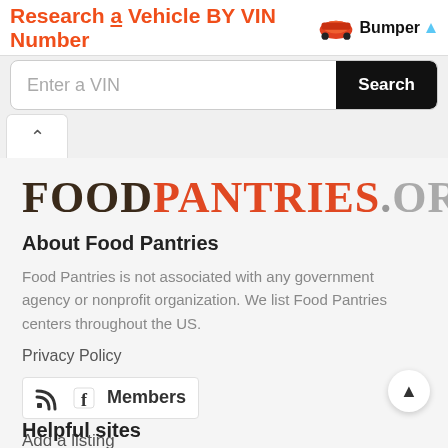[Figure (screenshot): Advertisement banner: 'Research a Vehicle BY VIN Number' with Bumper logo and a VIN search input field with Search button]
[Figure (logo): FOODPANTRIES.ORG logo in large serif text: FOOD in dark brown, PANTRIES in orange-red, .ORG in gray]
About Food Pantries
Food Pantries is not associated with any government agency or nonprofit organization. We list Food Pantries centers throughout the US.
Privacy Policy
Members
Add a listing
Helpful sites